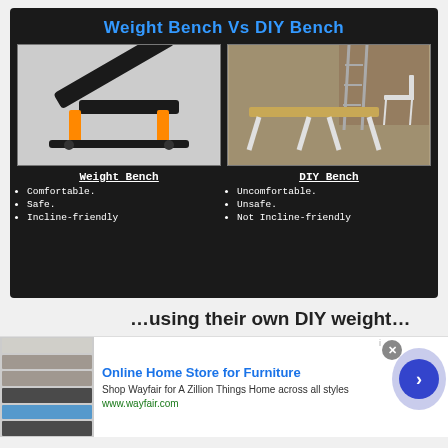[Figure (infographic): Comparison infographic on dark background titled 'Weight Bench Vs DIY Bench'. Left side shows a weight bench (adjustable, black with orange accents) with bullet points: Comfortable, Safe, Incline-friendly. Right side shows a DIY bench (wooden plank on white sawhorses in a garage) with bullet points: Uncomfortable, Unsafe, Not Incline-friendly.]
infolinks
...using their own DIY weight...
[Figure (screenshot): Advertisement banner for Wayfair Online Home Store for Furniture. Shows appliance images on left, headline 'Online Home Store for Furniture', subtext 'Shop Wayfair for A Zillion Things Home across all styles', URL www.wayfair.com, and a blue circular arrow button on the right.]